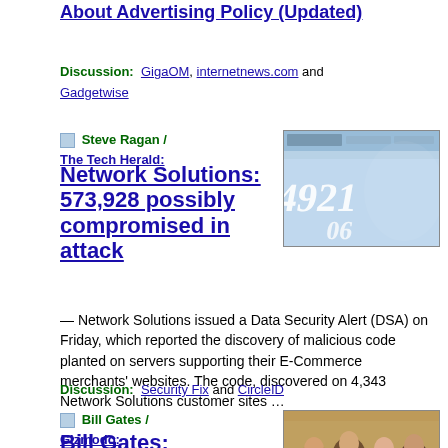About Advertising Policy (Updated)
Discussion:  GigaOM, internetnews.com and Gadgetwise
Steve Ragan / The Tech Herald:
Network Solutions: 573,928 possibly compromised in attack
[Figure (photo): Thumbnail image of credit card numbers, blue-tinted]
Network Solutions issued a Data Security Alert (DSA) on Friday, which reported the discovery of malicious code planted on servers supporting their E-Commerce merchants' websites.  The code, discovered on 4,343 Network Solutions customer sites …
Discussion:  Security Fix and CircleID
Bill Gates / Gizmodo:
Bill Gates: My 1970
[Figure (photo): Thumbnail group photo, vintage]